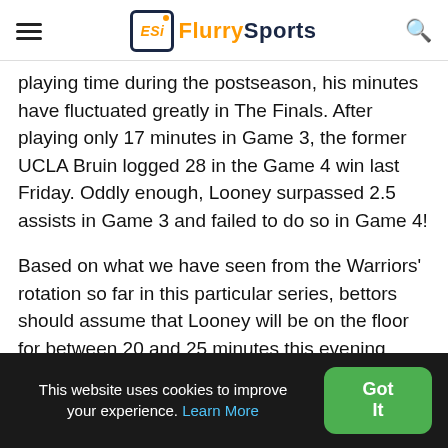ESj FlurrySports [hamburger menu] [search icon]
playing time during the postseason, his minutes have fluctuated greatly in The Finals. After playing only 17 minutes in Game 3, the former UCLA Bruin logged 28 in the Game 4 win last Friday. Oddly enough, Looney surpassed 2.5 assists in Game 3 and failed to do so in Game 4!
Based on what we have seen from the Warriors' rotation so far in this particular series, bettors should assume that Looney will be on the floor for between 20 and 25 minutes this evening. Can he
This website uses cookies to improve your experience. Learn More  Got It